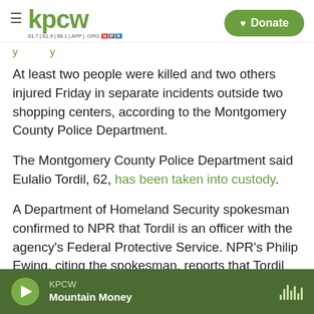KPCW — hamburger menu, KPCW logo, Donate button
At least two people were killed and two others injured Friday in separate incidents outside two shopping centers, according to the Montgomery County Police Department.
The Montgomery County Police Department said Eulalio Tordil, 62, has been taken into custody.
A Department of Homeland Security spokesman confirmed to NPR that Tordil is an officer with the agency's Federal Protective Service. NPR's Philip Ewing, citing the spokesman, reports that Tordil
KPCW — Mountain Money